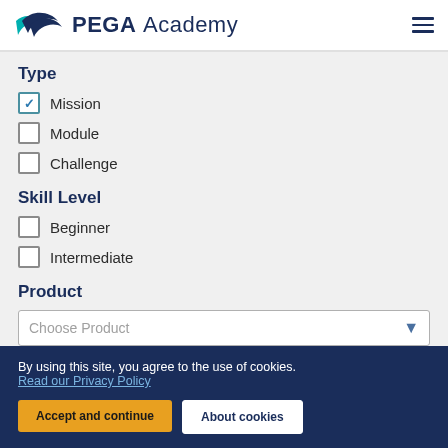PEGA Academy
Type
Mission (checked)
Module
Challenge
Skill Level
Beginner
Intermediate
Product
Choose Product
By using this site, you agree to the use of cookies. Read our Privacy Policy
Accept and continue
About cookies